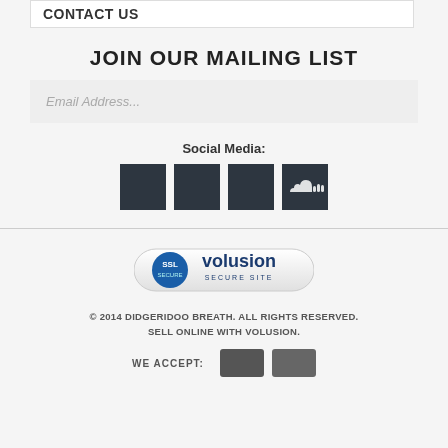CONTACT US
JOIN OUR MAILING LIST
Email Address...
Social Media:
[Figure (illustration): Four dark square social media icons including SoundCloud]
[Figure (logo): SSL Volusion Secure Site badge]
© 2014 DIDGERIDOO BREATH. ALL RIGHTS RESERVED. SELL ONLINE WITH VOLUSION.
WE ACCEPT:
[Figure (illustration): Two payment method icons (dark rectangles)]